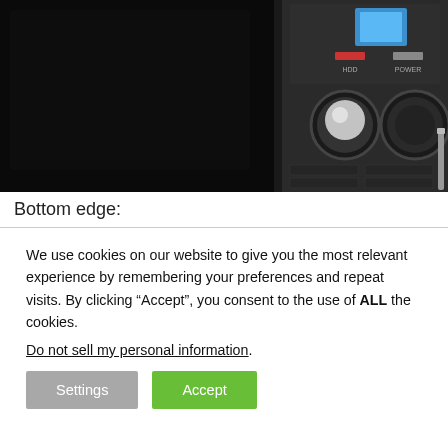[Figure (photo): Close-up photograph of a computer tower/desktop PC front panel, showing a dark chassis on the left and the right panel with a blue power indicator light at top, HDD and POWER labels with small indicator LEDs, two circular buttons (reset/power), and a grid of drive bay covers below.]
Bottom edge:
We use cookies on our website to give you the most relevant experience by remembering your preferences and repeat visits. By clicking “Accept”, you consent to the use of ALL the cookies.
Do not sell my personal information.